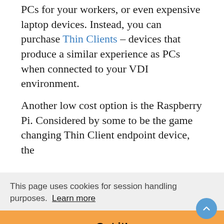PCs for your workers, or even expensive laptop devices. Instead, you can purchase Thin Clients – devices that produce a similar experience as PCs when connected to your VDI environment.
Another low cost option is the Raspberry Pi. Considered by some to be the game changing Thin Client endpoint device, the Raspberry Pi platform is able to deliver a [obscured by cookie banner] and a mere fraction of the cost of PCs.
This page uses cookies for session handling purposes. Learn more
Got it!
VDI Allows You to